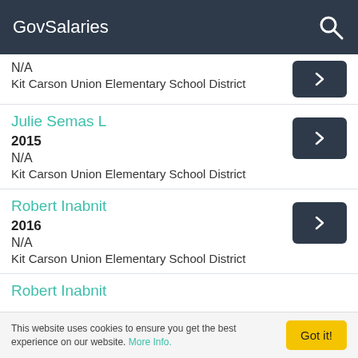GovSalaries
N/A
Kit Carson Union Elementary School District
Julie Semas L
2015
N/A
Kit Carson Union Elementary School District
Robert Inabnit
2016
N/A
Kit Carson Union Elementary School District
Robert Inabnit
This website uses cookies to ensure you get the best experience on our website. More Info.